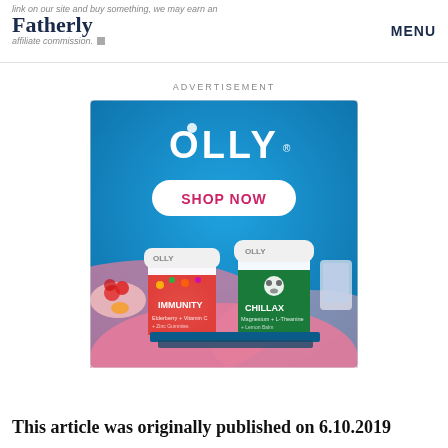Fatherly | link on our site and buy something, we may earn an affiliate commission. MENU
ADVERTISEMENT
[Figure (photo): OLLY vitamins advertisement showing two OLLY gummy vitamin jars (Kids Immunity and Kids Chillax) on a blue background with a SHOP NOW button, fruit and a tablet visible in the scene.]
This article was originally published on 6.10.2019